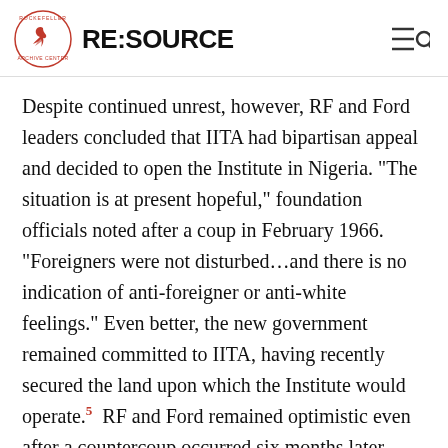RE:SOURCE
Despite continued unrest, however, RF and Ford leaders concluded that IITA had bipartisan appeal and decided to open the Institute in Nigeria. “The situation is at present hopeful,” foundation officials noted after a coup in February 1966. “Foreigners were not disturbed…and there is no indication of anti-foreigner or anti-white feelings.” Even better, the new government remained committed to IITA, having recently secured the land upon which the Institute would operate.5  RF and Ford remained optimistic even after a countercoup occurred six months later. “Despite two upheavals,” IITA’s